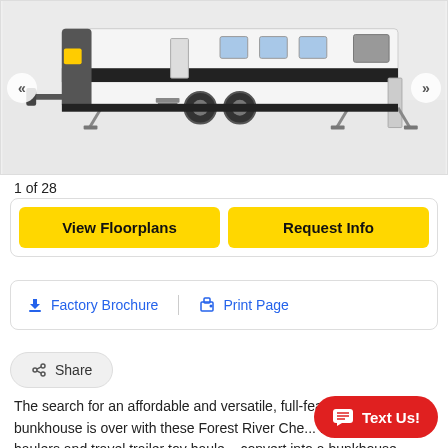[Figure (photo): A white travel trailer / toy hauler RV photographed from the side, with black accent stripes, stabilizer jacks deployed, and a rear ramp door visible.]
1 of 28
View Floorplans
Request Info
Factory Brochure
Print Page
Share
The search for an affordable and versatile, full-featured toy hauler bunkhouse is over with these Forest River Che... fifth wheel toy haulers and travel trailer toy haule... convert into a bunkhouse within minutes while still providing
Text Us!